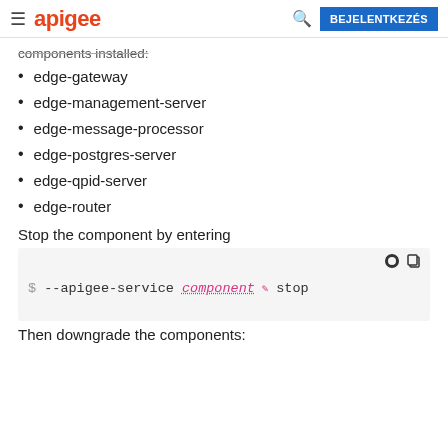≡ apigee [search] BEJELENTKEZÉS
components installed:
edge-gateway
edge-management-server
edge-message-processor
edge-postgres-server
edge-qpid-server
edge-router
Stop the component by entering
[Figure (screenshot): Code block showing: $ --apigee-service component stop]
Then downgrade the components: